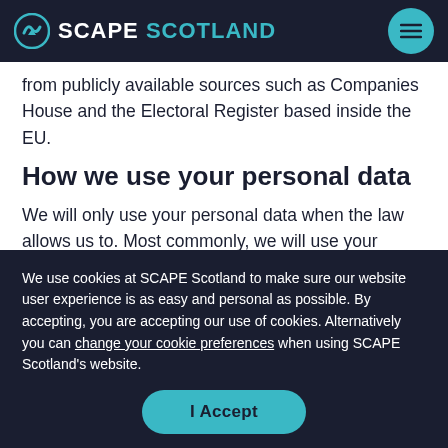SCAPE SCOTLAND
from publicly available sources such as Companies House and the Electoral Register based inside the EU.
How we use your personal data
We will only use your personal data when the law allows us to. Most commonly, we will use your
We use cookies at SCAPE Scotland to make sure our website user experience is as easy and personal as possible. By accepting, you are accepting our use of cookies. Alternatively you can change your cookie preferences when using SCAPE Scotland's website.
I Accept